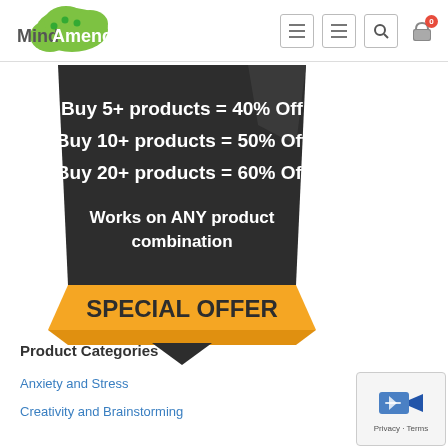[Figure (logo): Mind Amend logo with green cloud and dot pattern]
[Figure (infographic): Special offer promo banner: dark polygon shape with text: Buy 5+ products = 40% Off, Buy 10+ products = 50% Off, Buy 20+ products = 60% Off, Works on ANY product combination. Yellow ribbon at bottom reading SPECIAL OFFER with dark triangle pointer below.]
Product Categories
Anxiety and Stress
Creativity and Brainstorming